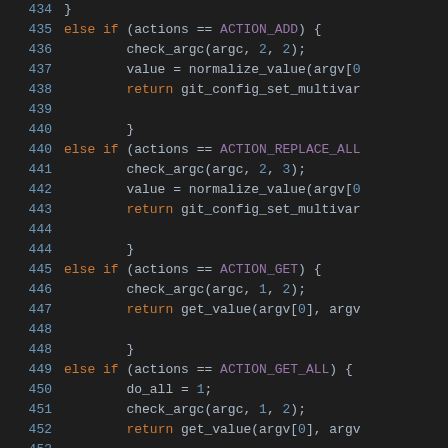[Figure (screenshot): Source code listing lines 435-464 of a C program handling git config actions, shown with syntax highlighting on dark background. Line numbers in blue on left, keywords in orange, constants in purple, numbers in blue, general code in light gray.]